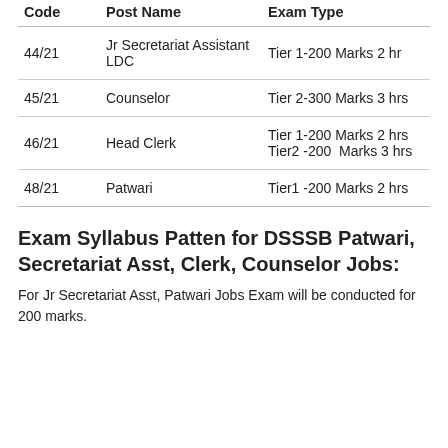| Code | Post Name | Exam Type |
| --- | --- | --- |
| 44/21 | Jr Secretariat Assistant LDC | Tier 1-200 Marks 2 hr |
| 45/21 | Counselor | Tier 2-300 Marks 3 hrs |
| 46/21 | Head Clerk | Tier 1-200 Marks 2 hrs
Tier2 -200  Marks 3 hrs |
| 48/21 | Patwari | Tier1 -200 Marks 2 hrs |
Exam Syllabus Patten for DSSSB Patwari, Secretariat Asst, Clerk, Counselor Jobs:
For Jr Secretariat Asst, Patwari Jobs Exam will be conducted for 200 marks.